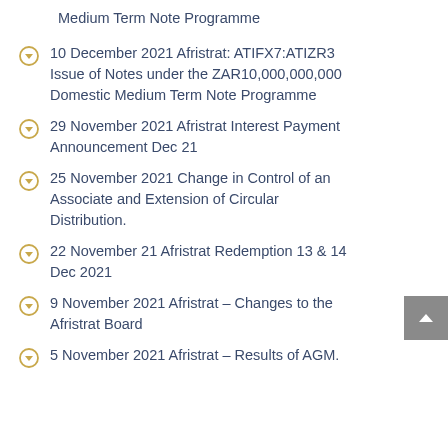Medium Term Note Programme
10 December 2021 Afristrat: ATIFX7:ATIZR3 Issue of Notes under the ZAR10,000,000,000 Domestic Medium Term Note Programme
29 November 2021 Afristrat Interest Payment Announcement Dec 21
25 November 2021 Change in Control of an Associate and Extension of Circular Distribution.
22 November 21 Afristrat Redemption 13 & 14 Dec 2021
9 November 2021 Afristrat – Changes to the Afristrat Board
5 November 2021 Afristrat – Results of AGM.